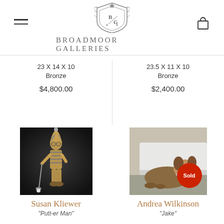Broadmoor Galleries
23 X 14 X 10
Bronze
$4,800.00
23.5 X 11 X 10
Bronze
$2,400.00
[Figure (photo): Bronze sculpture of a jester/golfer figure wearing striped costume and holding a golf club]
[Figure (photo): Photograph of a dog (Airedale Terrier) lying on a surface with a Sold badge overlay]
Susan Kliewer
Andrea Wilkinson